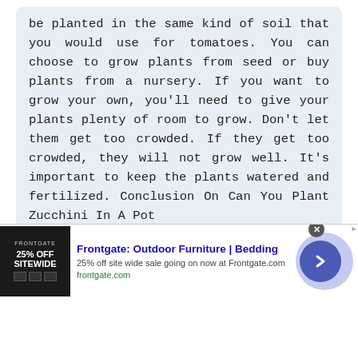be planted in the same kind of soil that you would use for tomatoes. You can choose to grow plants from seed or buy plants from a nursery. If you want to grow your own, you'll need to give your plants plenty of room to grow. Don't let them get too crowded. If they get too crowded, they will not grow well. It's important to keep the plants watered and fertilized. Conclusion On Can You Plant Zucchini In A Pot
What Are Zucchini?
The zucchini plant is known as a summer
[Figure (other): Advertisement banner for Frontgate: Outdoor Furniture | Bedding. Shows 25% off sitewide sale. Includes Frontgate logo image on left, ad text in center, and a circular arrow button on right.]